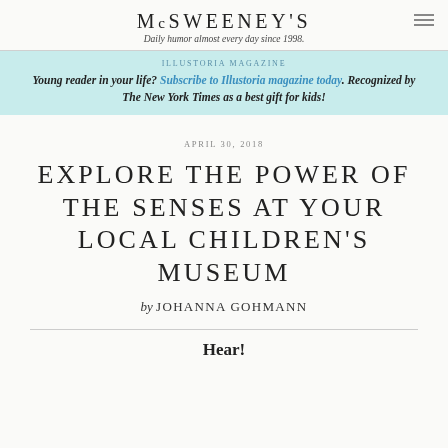McSWEENEY'S
Daily humor almost every day since 1998.
ILLUSTORIA MAGAZINE
Young reader in your life? Subscribe to Illustoria magazine today. Recognized by The New York Times as a best gift for kids!
APRIL 30, 2018
EXPLORE THE POWER OF THE SENSES AT YOUR LOCAL CHILDREN'S MUSEUM
by JOHANNA GOHMANN
Hear!